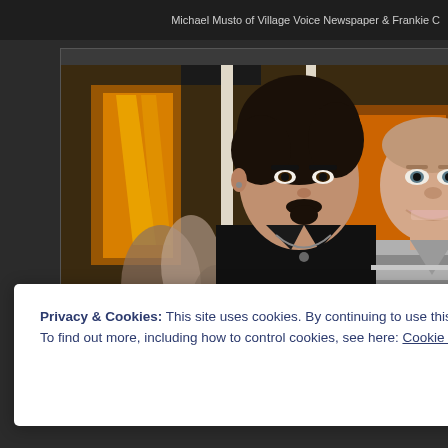Michael Musto of Village Voice Newspaper & Frankie C
[Figure (photo): Two men posing at a social event. The man in the center wears a black shirt, has dark hair styled up, and a goatee. A bald man in a striped shirt (grey, white, purple) stands to the right smiling. Background shows warm orange lighting and other guests.]
Privacy & Cookies: This site uses cookies. By continuing to use this website, you agree to their use.
To find out more, including how to control cookies, see here: Cookie Policy
Close and accept